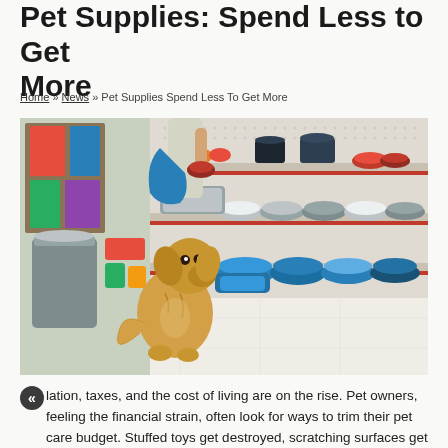Pet Supplies: Spend Less to Get More
Home » News » Pet Supplies Spend Less To Get More
[Figure (photo): A golden retriever dog sitting in a pet store aisle looking up at shelves stocked with pet bowls and accessories, with a person shopping in the background]
lation, taxes, and the cost of living are on the rise. Pet owners, feeling the financial strain, often look for ways to trim their pet care budget. Stuffed toys get destroyed, scratching surfaces get shredded,